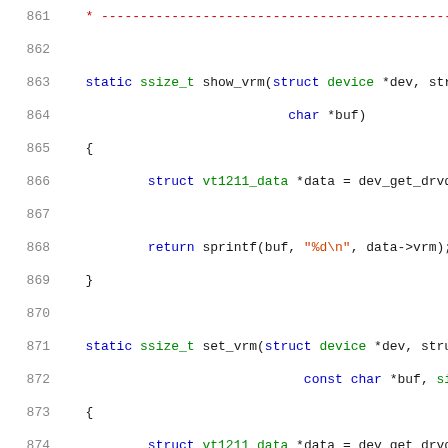Source code listing, lines 861-882, C kernel driver code showing show_vrm and set_vrm functions
[Figure (screenshot): C source code with syntax highlighting showing lines 861-882 of a Linux kernel driver. Contains show_vrm and set_vrm static functions with struct vt1211_data operations, kstrtoul call, error handling, and bounds check.]